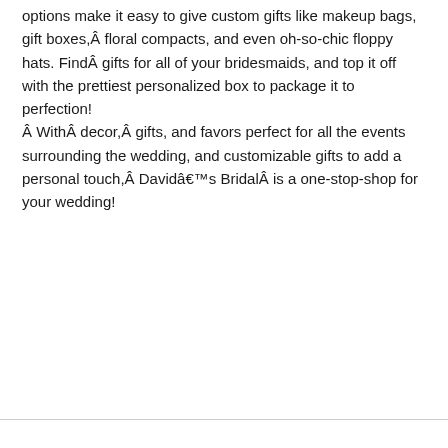options make it easy to give custom gifts like makeup bags, gift boxes,Â floral compacts, and even oh-so-chic floppy hats. FindÂ gifts for all of your bridesmaids, and top it off with the prettiest personalized box to package it to perfection! Â WithÂ decor,Â gifts, and favors perfect for all the events surrounding the wedding, and customizable gifts to add a personal touch,Â Davidâ€™s BridalÂ is a one-stop-shop for your wedding!